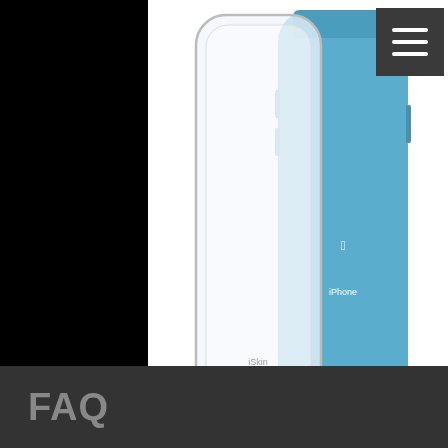[Figure (photo): Product photo showing a clear iPhone XR case (Claro) next to a blue iPhone XR. A hamburger menu icon is visible in the top right corner of the page.]
Claro for iPhone XR (6.1")
FAQ